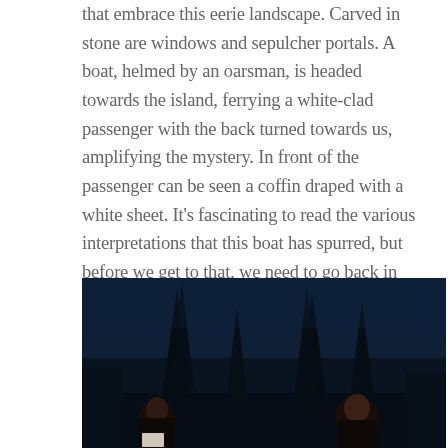that embrace this eerie landscape. Carved in stone are windows and sepulcher portals. A boat, helmed by an oarsman, is headed towards the island, ferrying a white-clad passenger with the back turned towards us, amplifying the mystery. In front of the passenger can be seen a coffin draped with a white sheet. It's fascinating to read the various interpretations that this boat has spurred, but before we get to that, we need to go back in time.
[Figure (photo): Dark painting or photograph showing silhouetted tall trees (cypress-like) against a deep blue-dark background, with two figures visible in the lower portion — one on the left and one on the right, partially illuminated.]